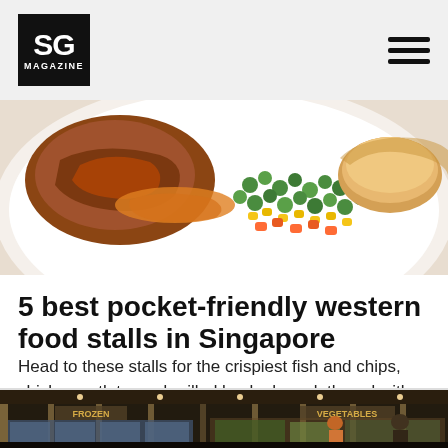SG MAGAZINE
[Figure (photo): Close-up photo of a plate with chicken cutlet, mixed vegetables (peas, corn, carrots), and a bread roll with brown gravy sauce]
5 best pocket-friendly western food stalls in Singapore
Head to these stalls for the crispiest fish and chips, chicken cutlets, and grilled lamb chops lathered with that brown gravy we know and love
[Figure (photo): Interior of a supermarket or food hall with dark ceiling, pendant lights, refrigerator displays on the left labeled FROZEN, produce section on the right labeled VEGETABLES, with shoppers visible]